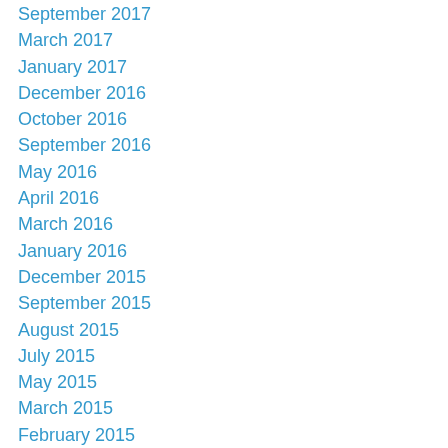September 2017
March 2017
January 2017
December 2016
October 2016
September 2016
May 2016
April 2016
March 2016
January 2016
December 2015
September 2015
August 2015
July 2015
May 2015
March 2015
February 2015
January 2015
November 2014
October 2014